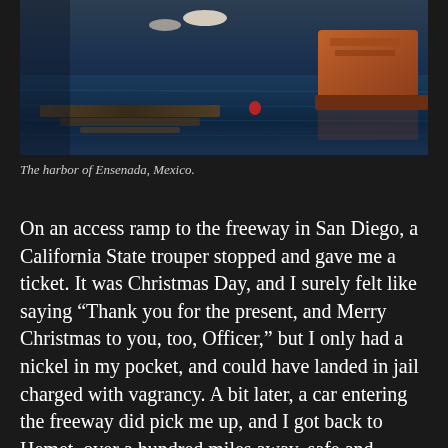[Figure (photo): A harbor scene showing water with floating debris and a wooden boat with orange hull visible at right, warm sunset tones contrasting with dark blue water. The harbor of Ensenada, Mexico.]
The harbor of Ensenada, Mexico.
On an access ramp to the freeway in San Diego, a California State trouper stopped and gave me a ticket. It was Christmas Day, and I surely felt like saying “Thank you for the present, and Merry Christmas to you, too, Officer,” but I only had a nickel in my pocket, and could have landed in jail charged with vagrancy. A bit later, a car entering the freeway did pick me up, and I got back to Hemet, over a hundred miles away, safe and sound, the nickel still in my pocket.